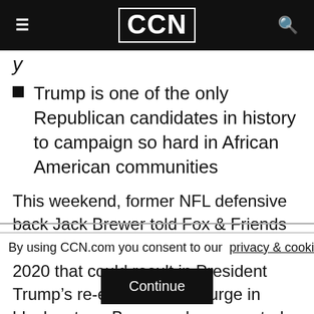CCN
y
Trump is one of the only Republican candidates in history to campaign so hard in African American communities
This weekend, former NFL defensive back Jack Brewer told Fox & Friends that he predicts a “black awakening” in 2020 that could result in President Trump’s re-election via a surge in black voters. Brewer, who supported Obama, says he feels the Democratic Party has abandoned African
By using CCN.com you consent to our  privacy & cookie policy.
Continue